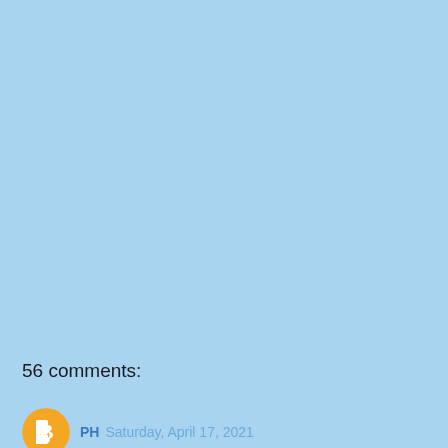56 comments:
[Figure (logo): Blogger orange circular avatar icon with white 'B' letter]
PH Saturday, April 17, 2021